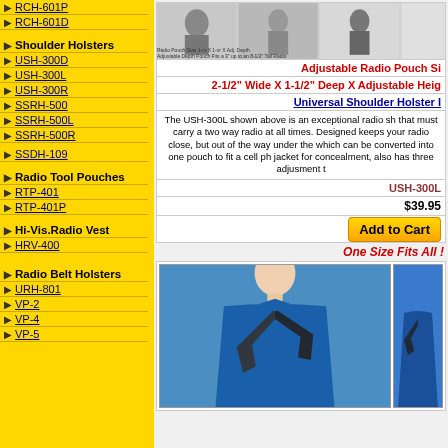RCH-601P
RCH-601D
Shoulder Holsters
USH-300D
USH-300L
USH-300R
SSRH-500
SSRH-500L
SSRH-500R
SSDH-109
Radio Tool Pouches
RTP-401
RTP-401P
Hi-Vis.Radio Vest
HRV-400
Radio Belt Holsters
URH-801
VP-2
VP-4
VP-5
[Figure (photo): Radio pouch product images showing shoulder holster from multiple angles]
Radio Pouch Size 1-cr X 1-cr X Adj. Depth
Adjustable Depth Pouch Fits a 3" up to an 8-1/2" Tall Radio
Adjustable Radio Pouch Si
2-1/2" Wide X 1-1/2" Deep X Adjustable Heig
Universal Shoulder Holster I
The USH-300L shown above is an exceptional radio sh that must carry a two way radio at all times. Designed keeps your radio close, but out of the way under the which can be converted into one pouch to fit a cell ph jacket for concealment, also has three adjusment t
USH-300L
$39.95
Add to Cart
One Size Fits All !
[Figure (photo): Mannequin wearing blue shirt with shoulder holster strap visible]